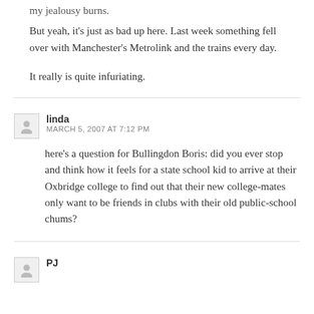my jealousy burns.
But yeah, it's just as bad up here. Last week something fell over with Manchester's Metrolink and the trains every day.
It really is quite infuriating.
linda
MARCH 5, 2007 AT 7:12 PM
here's a question for Bullingdon Boris: did you ever stop and think how it feels for a state school kid to arrive at their Oxbridge college to find out that their new college-mates only want to be friends in clubs with their old public-school chums?
PJ